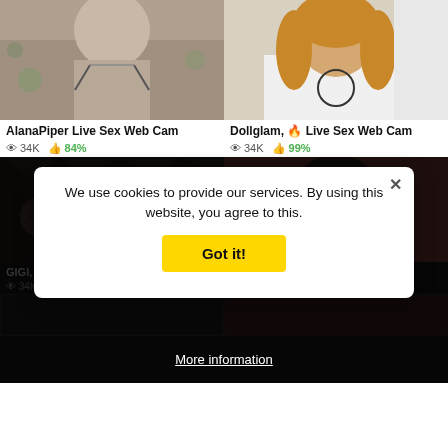[Figure (photo): Thumbnail photo top-left: woman in lingerie]
[Figure (photo): Thumbnail photo top-right: woman in white shirt]
AlanaPiper Live Sex Web Cam
34K  84%
Dollglam, 🔥 Live Sex Web Cam
34K  99%
[Figure (photo): Thumbnail photo bottom-left: person with tattoos on dark background]
[Figure (photo): Thumbnail photo bottom-right: woman smiling with colorful background]
GlGl, 🔥 Live Sex Web Cam
34K  39%
We use cookies to provide our services. By using this website, you agree to this.
Got it!
More information